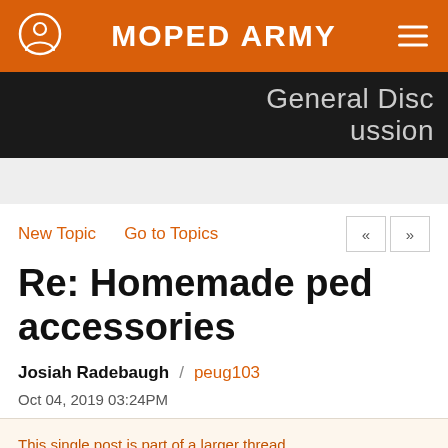MOPED ARMY
General Discussion
New Topic   Go to Topics
Re: Homemade ped accessories
Josiah Radebaugh / peug103
Oct 04, 2019 03:24PM
This single post is part of a larger thread. Start from the top or view this post in context.